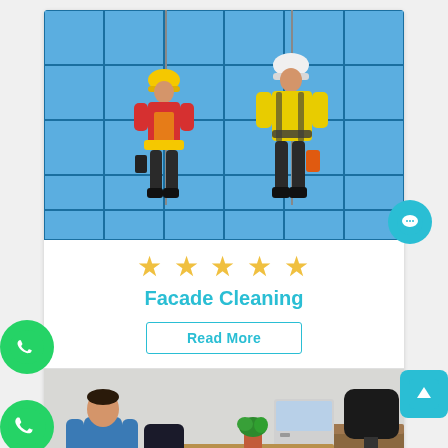[Figure (photo): Two workers in harnesses and hard hats cleaning the glass facade of a tall building, suspended by ropes. One wears red shirt and yellow helmet, the other wears yellow jacket and white helmet. Blue glass curtain wall panels in background.]
★★★★★
Facade Cleaning
Read More
[Figure (photo): Office cleaning worker in blue uniform standing in an office with desk chairs, a potted plant on a wooden table, and office equipment in the background.]